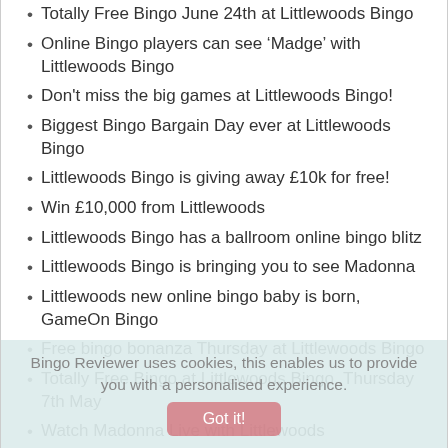Totally Free Bingo June 24th at Littlewoods Bingo
Online Bingo players can see ‘Madge’ with Littlewoods Bingo
Don't miss the big games at Littlewoods Bingo!
Biggest Bingo Bargain Day ever at Littlewoods Bingo
Littlewoods Bingo is giving away £10k for free!
Win £10,000 from Littlewoods
Littlewoods Bingo has a ballroom online bingo blitz
Littlewoods Bingo is bringing you to see Madonna
Littlewoods new online bingo baby is born, GameOn Bingo
Free bingo bonanza Thursday at Littlewoods Bingo
Totally Free Bingo at Littlewoods Bingo, Thursday 7th May
Watch Madonna Live with Littlewoods
Bingo Reviewer uses cookies, this enables us to provide you with a personalised experience.